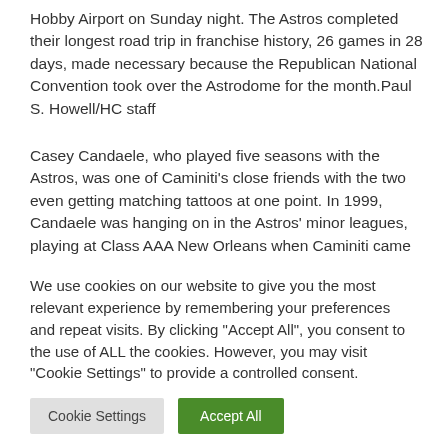Hobby Airport on Sunday night. The Astros completed their longest road trip in franchise history, 26 games in 28 days, made necessary because the Republican National Convention took over the Astrodome for the month.Paul S. Howell/HC staff
Casey Candaele, who played five seasons with the Astros, was one of Caminiti's close friends with the two even getting matching tattoos at one point. In 1999, Candaele was hanging on in the Astros' minor leagues, playing at Class AAA New Orleans when Caminiti came through on a rehab assignment from a strained calf. Caminiti had a
We use cookies on our website to give you the most relevant experience by remembering your preferences and repeat visits. By clicking "Accept All", you consent to the use of ALL the cookies. However, you may visit "Cookie Settings" to provide a controlled consent.